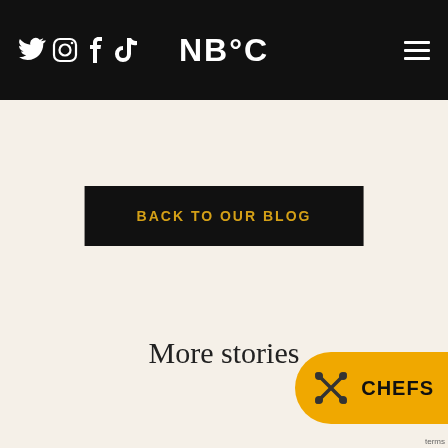NB°C — navigation bar with social icons (Twitter, Instagram, Facebook, TikTok) and hamburger menu
[Figure (screenshot): Black navigation bar with white social media icons (Twitter bird, Instagram camera, Facebook f, TikTok logo) on left, NB°C logo centered in white, hamburger menu icon on right]
BACK TO OUR BLOG
More stories
[Figure (illustration): Yellow pill-shaped button with crossed utensils (fork and spoon) icon and CHEFS text in black, partially visible at bottom right corner]